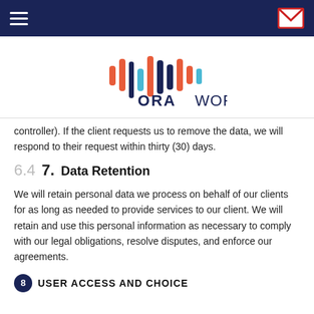ORA WORLDWIDE navigation header
[Figure (logo): ORA Worldwide logo with colored bar chart waveform graphic above bold text ORA WORLDWIDE]
controller). If the client requests us to remove the data, we will respond to their request within thirty (30) days.
6.4  7.  Data Retention
We will retain personal data we process on behalf of our clients for as long as needed to provide services to our client. We will retain and use this personal information as necessary to comply with our legal obligations, resolve disputes, and enforce our agreements.
8.  USER ACCESS AND CHOICE